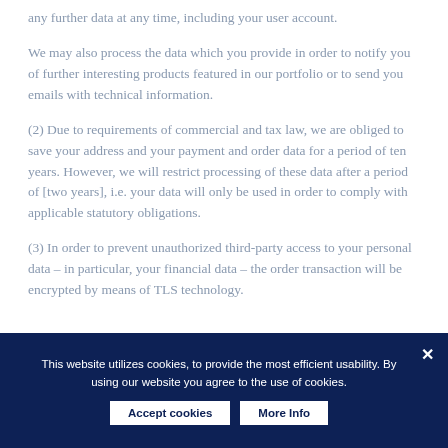any further data at any time, including your user account.
We may also process the data which you provide in order to notify you of further interesting products featured in our portfolio or to send you emails with technical information.
(2) Due to requirements of commercial and tax law, we are obliged to save your address and your payment and order data for a period of ten years. However, we will restrict processing of these data after a period of [two years], i.e. your data will only be used in order to comply with applicable statutory obligations.
(3) In order to prevent unauthorized third-party access to your personal data – in particular, your financial data – the order transaction will be encrypted by means of TLS technology.
This website utilizes cookies, to provide the most efficient usability. By using our website you agree to the use of cookies.